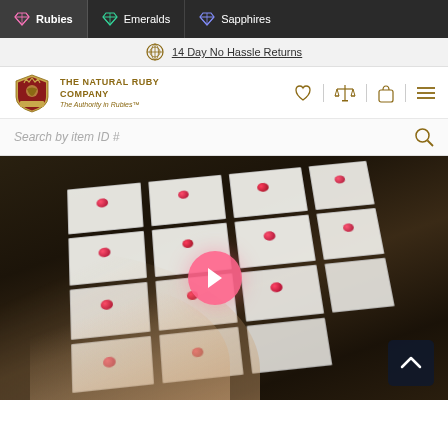Rubies | Emeralds | Sapphires
14 Day No Hassle Returns
[Figure (logo): The Natural Ruby Company crest logo with crown and shield]
THE NATURAL RUBY COMPANY
The Authority in Rubies™
Search by item ID #
[Figure (photo): A hand browsing a tray of ruby gemstones laid out on white cards in a dark wooden box, with a pink play button overlay in the center and an up-arrow button in the bottom right corner]